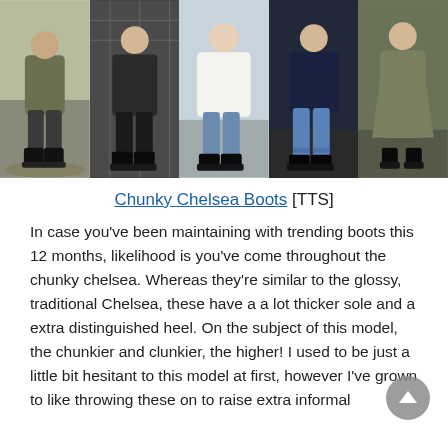[Figure (photo): Five fashion photos side by side showing different outfits paired with chunky Chelsea boots. From left to right: olive/green bomber jacket with dark pants and black chunky Chelsea boots; black plaid jacket with black leather pants and black chunky platform boots; white oversized knit sweater with blue jeans and black chunky Chelsea boots; dark navy top with blue jeans and black chunky Chelsea boots; olive/sage knit dress with black chunky ankle boots.]
Chunky Chelsea Boots [TTS]
In case you've been maintaining with trending boots this 12 months, likelihood is you've come throughout the chunky chelsea. Whereas they're similar to the glossy, traditional Chelsea, these have a a lot thicker sole and a extra distinguished heel. On the subject of this model, the chunkier and clunkier, the higher! I used to be just a little bit hesitant to this model at first, however I've grown to like throwing these on to raise extra informal outfits.